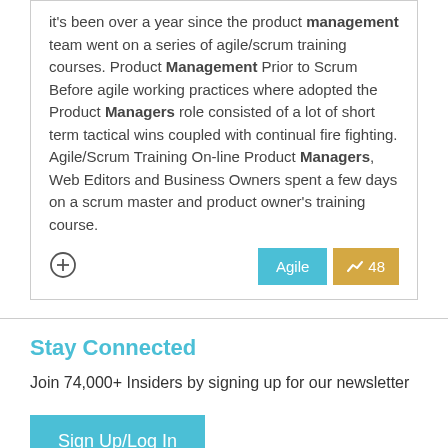It's been over a year since the product management team went on a series of agile/scrum training courses. Product Management Prior to Scrum Before agile working practices where adopted the Product Managers role consisted of a lot of short term tactical wins coupled with continual fire fighting. Agile/Scrum Training On-line Product Managers, Web Editors and Business Owners spent a few days on a scrum master and product owner's training course.
Stay Connected
Join 74,000+ Insiders by signing up for our newsletter
Sign Up/Log In
About